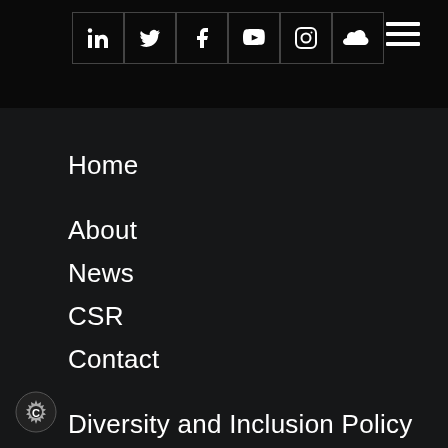[Figure (illustration): Social media icon buttons in a row: LinkedIn, Twitter, Facebook, YouTube, Instagram, SoundCloud — white icons on dark background with border outlines]
[Figure (illustration): Hamburger menu icon (three horizontal white lines) in top right corner]
Home
About
News
CSR
Contact
Diversity and Inclusion Policy
Privacy & Cookies
Legal Notice
Sitemap
[Figure (logo): Cookiebot / cookie settings badge icon at bottom left corner]